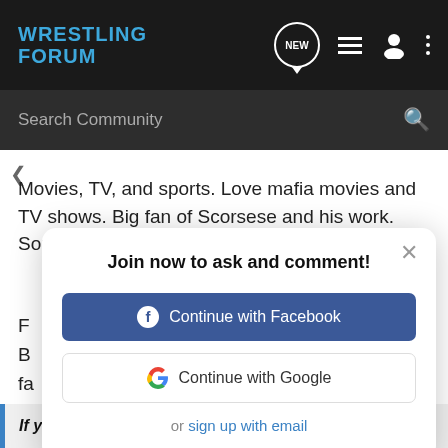WRESTLING FORUM
Search Community
Movies, TV, and sports. Love mafia movies and TV shows. Big fan of Scorsese and his work. Sopranos is my favorite show e[ver]
Join now to ask and comment!
Continue with Facebook
Continue with Google
or sign up with email
If you could sit on a bench and talk to anyone